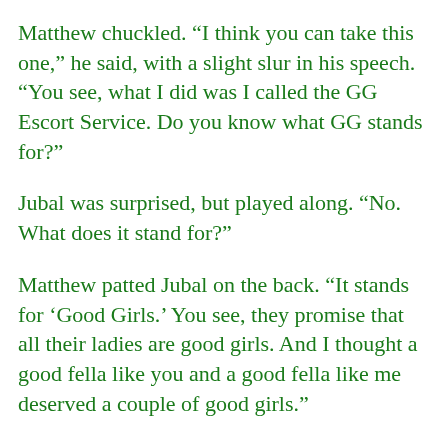Matthew chuckled. “I think you can take this one,” he said, with a slight slur in his speech. “You see, what I did was I called the GG Escort Service. Do you know what GG stands for?”
Jubal was surprised, but played along. “No. What does it stand for?”
Matthew patted Jubal on the back. “It stands for ‘Good Girls.’ You see, they promise that all their ladies are good girls. And I thought a good fella like you and a good fella like me deserved a couple of good girls.”
Jubal crossed the room and sat down on the plush couch. “I don’t understand. Why did you do that?”
Matthew, still standing at the door, responded, “I thought you might like to — Girl, hold on a few…”